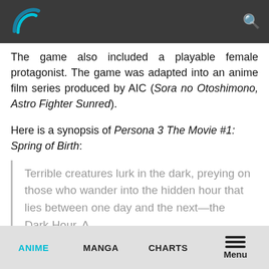[Figure (logo): Website logo with a curved swoosh design in blue/teal on dark background, with a search icon in the top right]
The game also included a playable female protagonist. The game was adapted into an anime film series produced by AIC (Sora no Otoshimono, Astro Fighter Sunred).
Here is a synopsis of Persona 3 The Movie #1: Spring of Birth:
Terrible creatures lurk in the dark, preying on those who wander into the hidden hour that lies between one day and the next—the Dark Hour. A
ANIME   MANGA   CHARTS   Menu